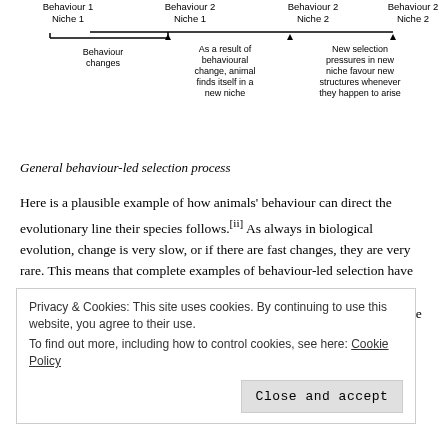[Figure (flowchart): Behaviour-led selection process diagram showing four stages: Behaviour 1 Niche 1, Behaviour 2 Niche 1, Behaviour 2 Niche 2, Behaviour 2 Niche 2, connected by arrows with labels: Behaviour changes, As a result of behavioural change animal finds itself in a new niche, New selection pressures in new niche favour new structures whenever they happen to arise]
General behaviour-led selection process
Here is a plausible example of how animals' behaviour can direct the evolutionary line their species follows.[ii] As always in biological evolution, change is very slow, or if there are fast changes, they are very rare. This means that complete examples of behaviour-led selection have not been observed occurring in nature. In addition, fossil evidence for behaviour as opposed to structure is very hard to come by. So my example is of what may have happened, not of
Privacy & Cookies: This site uses cookies. By continuing to use this website, you agree to their use.
To find out more, including how to control cookies, see here: Cookie Policy